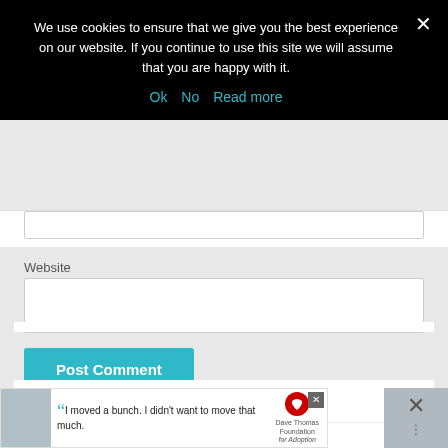We use cookies to ensure that we give you the best experience on our website. If you continue to use this site we will assume that you are happy with it.
Ok  No  Read more
Website
[Figure (screenshot): Website text input field (empty)]
Post Comment
POPULAR POSTS
[Figure (photo): Thumbnail image with dark red background and a circular avatar shape]
Sophie
[Figure (screenshot): Advertisement banner: boy photo, quote 'I moved a bunch. I didn't want to move that much.' with Dave Thomas Foundation for Adoption logo]